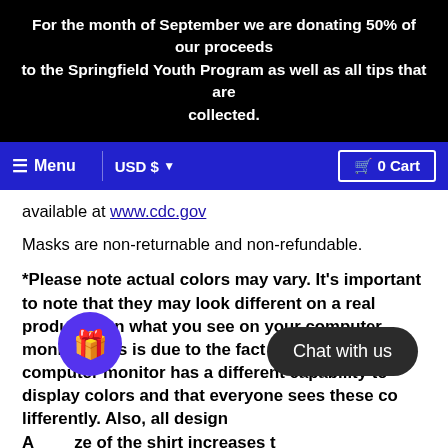For the month of September we are donating 50% of our proceeds to the Springfield Youth Program as well as all tips that are collected.
Menu  USD $  0 Cart
available at www.cdc.gov
Masks are non-returnable and non-refundable.
*Please note actual colors may vary. It’s important to note that they may look different on a real product than what you see on your computer monitor. This is due to the fact that every computer monitor has a different capability to display colors and that everyone sees these colors differently. Also, all designs... As the size of the shirt increases the design decreases.